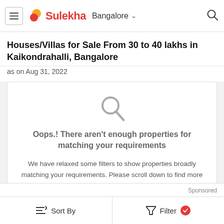Sulekha — Bangalore
Houses/Villas for Sale From 30 to 40 lakhs in Kaikondrahalli, Bangalore
as on Aug 31, 2022
[Figure (infographic): No-results card with a grey magnifying glass icon and message: Oops.! There aren't enough properties for matching your requirements. We have relaxed some filters to show properties broadly matching your requirements. Please scroll down to find more related properties.]
Sponsored
Sort By   Filter